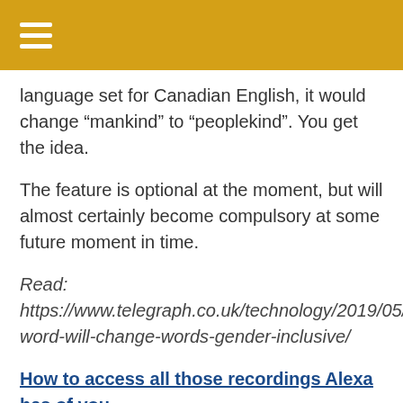☰
language set for Canadian English, it would change “mankind” to “peoplekind”. You get the idea.
The feature is optional at the moment, but will almost certainly become compulsory at some future moment in time.
Read: https://www.telegraph.co.uk/technology/2019/05/ word-will-change-words-gender-inclusive/
How to access all those recordings Alexa has of you
Somewhat surprised to see this story emanating from the Washington Post, given that they’re owned by Jeff